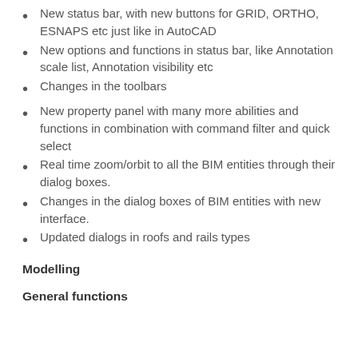New status bar, with new buttons for GRID, ORTHO, ESNAPS etc just like in AutoCAD
New options and functions in status bar, like Annotation scale list, Annotation visibility etc
Changes in the toolbars
New property panel with many more abilities and functions in combination with command filter and quick select
Real time zoom/orbit to all the BIM entities through their dialog boxes.
Changes in the dialog boxes of BIM entities with new interface.
Updated dialogs in roofs and rails types
Modelling
General functions